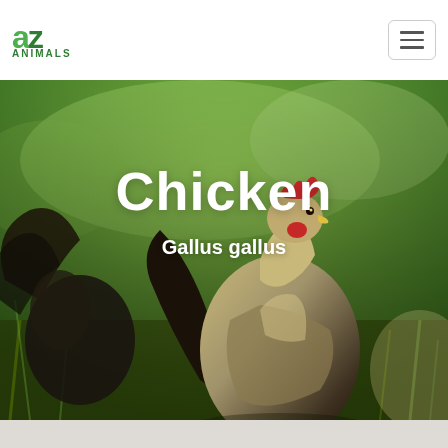AZ Animals
[Figure (photo): A rooster (male chicken) with reddish comb and tan/dark plumage standing in a green grassy field, photographed from the side. The background is blurred green foliage.]
Chicken
Gallus gallus